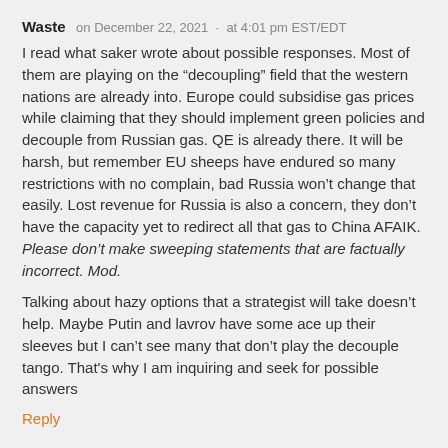Waste  on December 22, 2021 · at 4:01 pm EST/EDT
I read what saker wrote about possible responses. Most of them are playing on the “decoupling” field that the western nations are already into. Europe could subsidise gas prices while claiming that they should implement green policies and decouple from Russian gas. QE is already there. It will be harsh, but remember EU sheeps have endured so many restrictions with no complain, bad Russia won’t change that easily. Lost revenue for Russia is also a concern, they don’t have the capacity yet to redirect all that gas to China AFAIK. Please don’t make sweeping statements that are factually incorrect. Mod.
Talking about hazy options that a strategist will take doesn’t help. Maybe Putin and lavrov have some ace up their sleeves but I can’t see many that don’t play the decouple tango. That's why I am inquiring and seek for possible answers
Reply
NotEuclid  on December 23, 2021 · at 5:23 am EST/EDT
“I read what saker wrote about possible responses. Most of them